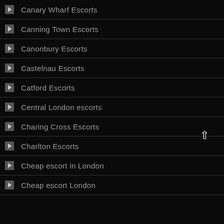Canary Wharf Escorts
Canning Town Escorts
Canonbury Escorts
Castelnau Escorts
Catford Escorts
Central London escorts
Charing Cross Escorts
Charlton Escorts
Cheap escort in London
Cheap escort London